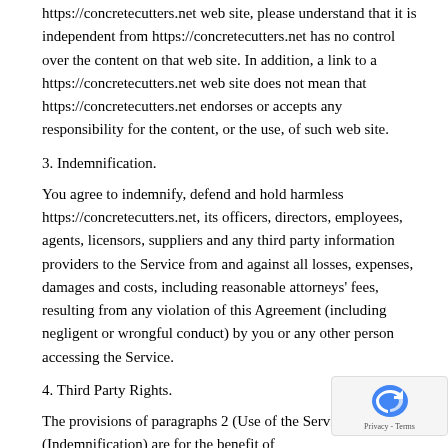https://concretecutters.net web site, please understand that it is independent from https://concretecutters.net has no control over the content on that web site. In addition, a link to a https://concretecutters.net web site does not mean that https://concretecutters.net endorses or accepts any responsibility for the content, or the use, of such web site.
3. Indemnification.
You agree to indemnify, defend and hold harmless https://concretecutters.net, its officers, directors, employees, agents, licensors, suppliers and any third party information providers to the Service from and against all losses, expenses, damages and costs, including reasonable attorneys' fees, resulting from any violation of this Agreement (including negligent or wrongful conduct) by you or any other person accessing the Service.
4. Third Party Rights.
The provisions of paragraphs 2 (Use of the Service), and 3 (Indemnification) are for the benefit of https://concretecutters.net